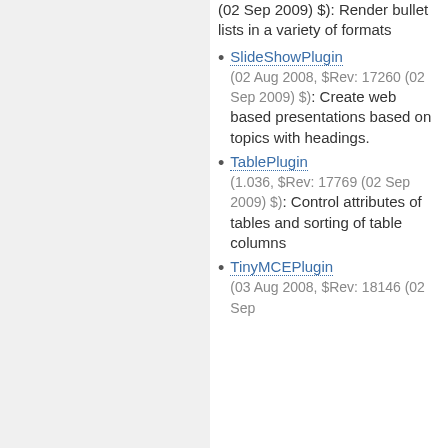(02 Sep 2009) $): Render bullet lists in a variety of formats
SlideShowPlugin (02 Aug 2008, $Rev: 17260 (02 Sep 2009) $): Create web based presentations based on topics with headings.
TablePlugin (1.036, $Rev: 17769 (02 Sep 2009) $): Control attributes of tables and sorting of table columns
TinyMCEPlugin (03 Aug 2008, $Rev: 18146 (02 Sep